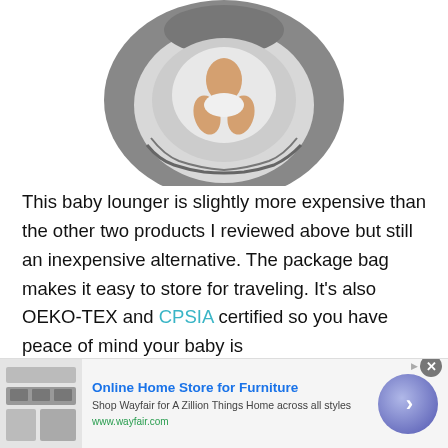[Figure (photo): Top-down view of a baby lounger/nest with gray and silver fabric, oval/teardrop shape, baby's legs visible in center]
This baby lounger is slightly more expensive than the other two products I reviewed above but still an inexpensive alternative. The package bag makes it easy to store for traveling. It's also OEKO-TEX and CPSIA certified so you have peace of mind your baby is [partially visible text cut off]
[Figure (screenshot): Online advertisement banner for Wayfair - Online Home Store for Furniture. Shows furniture images, text 'Online Home Store for Furniture', 'Shop Wayfair for A Zillion Things Home across all styles', 'www.wayfair.com', and a purple circle with chevron arrow.]